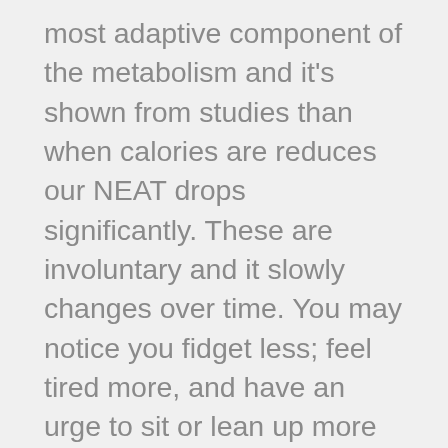most adaptive component of the metabolism and it's shown from studies than when calories are reduces our NEAT drops significantly. These are involuntary and it slowly changes over time. You may notice you fidget less; feel tired more, and have an urge to sit or lean up more when you get the chance. Now we can't actively choose to fidget more or force involuntary movements consistently but one thing that can help is to have a tracker for our daily step count and aim for the same daily goal. This will somewhat help maintain fluctuation in NEAT so we can avoid our TDEE from dropping too low and stalling weight loss. Be reasonable based on your lifestyle and aim to stay active earlier in the day and not wait until 10pm at night and look to get 9000 steps in before bed because you were too lazy in the day. Things like aiming